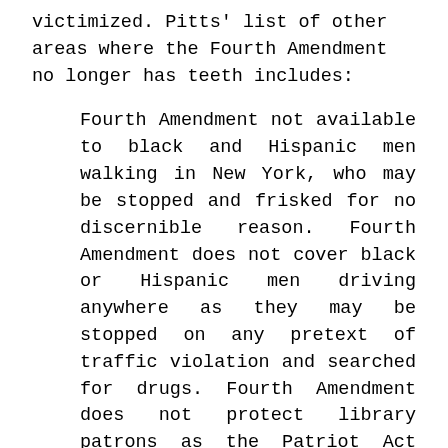victimized. Pitts' list of other areas where the Fourth Amendment no longer has teeth includes:
Fourth Amendment not available to black and Hispanic men walking in New York, who may be stopped and frisked for no discernible reason. Fourth Amendment does not cover black or Hispanic men driving anywhere as they may be stopped on any pretext of traffic violation and searched for drugs. Fourth Amendment does not protect library patrons as the Patriot Act allows the FBI to search your library records without your knowledge. Fourth Amendment does not apply to anyone using a telephone, the Internet or email as those communications may be searched by